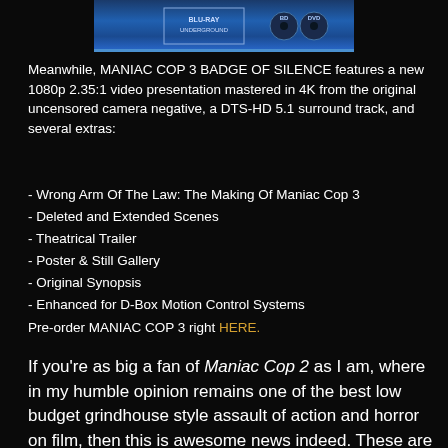[Figure (photo): Top portion of a Blu-ray/DVD combo pack case with blue gradient background showing Blu-ray and DVD logos]
Meanwhile, MANIAC COP 3 BADGE OF SILENCE features a new 1080p 2.35:1 video presentation mastered in 4K from the original uncensored camera negative, a DTS-HD 5.1 surround track, and several extras:
- Wrong Arm Of The Law: The Making Of Maniac Cop 3
- Deleted and Extended Scenes
- Theatrical Trailer
- Poster & Still Gallery
- Original Synopsis
- Enhanced for D-Box Motion Control Systems
Pre-order MANIAC COP 3 right HERE.
If you're as big a fan of Maniac Cop 2 as I am, where in my humble opinion remains one of the best low budget grindhouse style assault of action and horror on film, then this is awesome news indeed. These are a "must have" for me, no question.